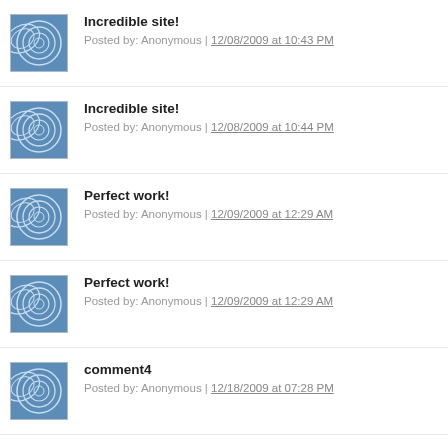Incredible site!
Posted by: Anonymous | 12/08/2009 at 10:43 PM
Incredible site!
Posted by: Anonymous | 12/08/2009 at 10:44 PM
Perfect work!
Posted by: Anonymous | 12/09/2009 at 12:29 AM
Perfect work!
Posted by: Anonymous | 12/09/2009 at 12:29 AM
comment4
Posted by: Anonymous | 12/18/2009 at 07:28 PM
When thing seems up in the air And everything is so unfair And...